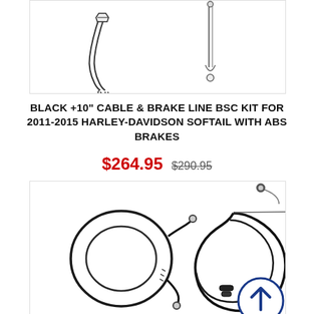[Figure (photo): Two motorcycle cable/brake line components shown against white background — partial top view]
BLACK +10" CABLE & BRAKE LINE BSC KIT FOR 2011-2015 HARLEY-DAVIDSON SOFTAIL WITH ABS BRAKES
$264.95  $290.95
[Figure (photo): Two motorcycle cable/brake line components — a coiled black cable on the left and a circular brake line with banjo fittings on the right, with a scroll-up arrow button overlay]